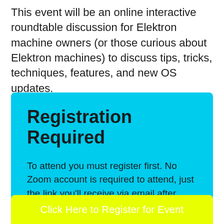This event will be an online interactive roundtable discussion for Elektron machine owners (or those curious about Elektron machines) to discuss tips, tricks, techniques, features, and new OS updates.
Registration Required
To attend you must register first. No Zoom account is required to attend, just the link you'll receive via email after registration.
Click Here to Register for Event